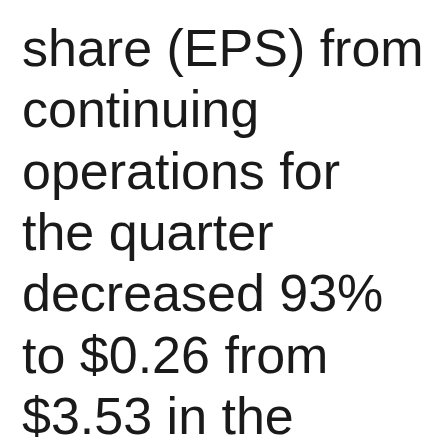share (EPS) from continuing operations for the quarter decreased 93% to $0.26 from $3.53 in the prior-year quarter. Excluding certain items affecting comparability(1),